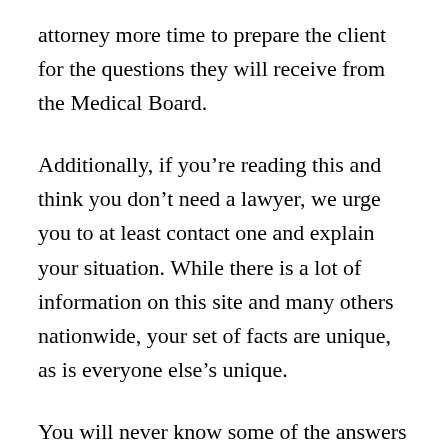attorney more time to prepare the client for the questions they will receive from the Medical Board.
Additionally, if you’re reading this and think you don’t need a lawyer, we urge you to at least contact one and explain your situation. While there is a lot of information on this site and many others nationwide, your set of facts are unique, as is everyone else’s unique.
You will never know some of the answers to your questions until you speak with someone who has experience in front of the North